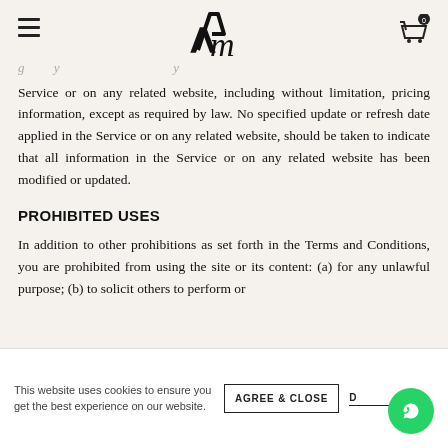Am [logo with hamburger menu and cart icon with badge 0]
Service or on any related website, including without limitation, pricing information, except as required by law. No specified update or refresh date applied in the Service or on any related website, should be taken to indicate that all information in the Service or on any related website has been modified or updated.
PROHIBITED USES
In addition to other prohibitions as set forth in the Terms and Conditions, you are prohibited from using the site or its content: (a) for any unlawful purpose; (b) to solicit others to perform or
This website uses cookies to ensure you get the best experience on our website.
AGREE & CLOSE